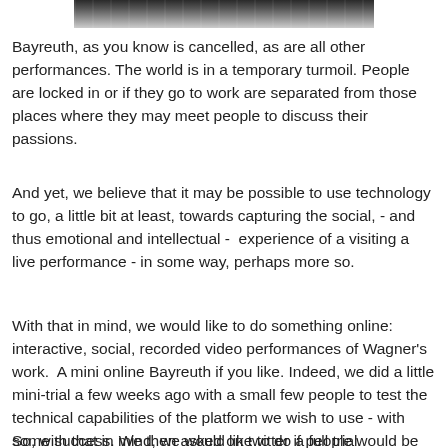[Figure (photo): Partial view of a crowd photo, dark background with people visible at the top of the page]
Bayreuth, as you know is cancelled, as are all other performances. The world is in a temporary turmoil. People are locked in or if they go to work are separated from those places where they may meet people to discuss their passions.
And yet, we believe that it may be possible to use technology to go, a little bit at least, towards capturing the social, - and thus emotional and intellectual -  experience of a visiting a live performance - in some way, perhaps more so.
With that in mind, we would like to do something online: interactive, social, recorded video performances of Wagner's work.  A mini online Bayreuth if you like. Indeed, we did a little mini-trial a few weeks ago with a small few people to test the technical capabilities of the platform we wish to use - with some success. We then asked on twitter if people would be interested and more importantly take part by joining in and chatting, a108 voted yes.
So, with that in mind, we would like to do a full trial